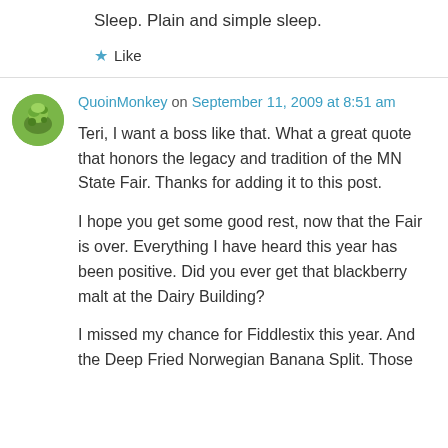Sleep. Plain and simple sleep.
★ Like
QuoinMonkey on September 11, 2009 at 8:51 am
Teri, I want a boss like that. What a great quote that honors the legacy and tradition of the MN State Fair. Thanks for adding it to this post.
I hope you get some good rest, now that the Fair is over. Everything I have heard this year has been positive. Did you ever get that blackberry malt at the Dairy Building?
I missed my chance for Fiddlestix this year. And the Deep Fried Norwegian Banana Split. Those